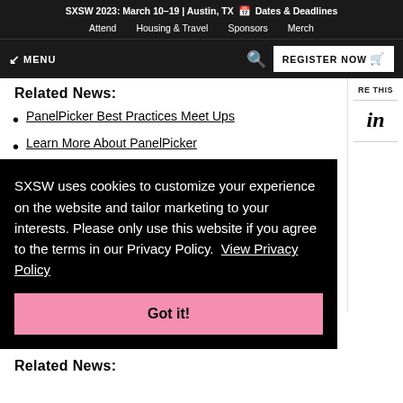SXSW 2023: March 10–19 | Austin, TX  📅 Dates & Deadlines  Attend  Housing & Travel  Sponsors  Merch
MENU  🔍  REGISTER NOW 🛒
Related News:
PanelPicker Best Practices Meet Ups
Learn More About PanelPicker
SXSW uses cookies to customize your experience on the website and tailor marketing to your interests. Please only use this website if you agree to the terms in our Privacy Policy.  View Privacy Policy
Got it!
Related News: